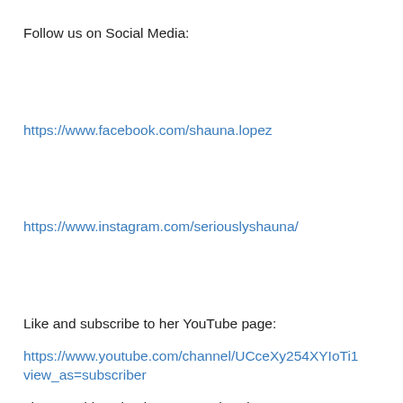Follow us on Social Media:
https://www.facebook.com/shauna.lopez
https://www.instagram.com/seriouslyshauna/
Like and subscribe to her YouTube page:
https://www.youtube.com/channel/UCceXy254XYIoTi1view_as=subscriber
Listen to this episode on Parenthood: